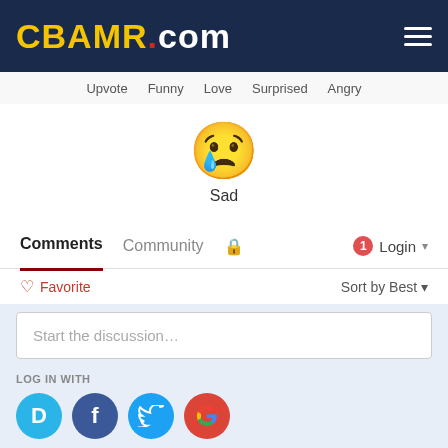CBAMR.COM
Upvote  Funny  Love  Surprised  Angry
[Figure (illustration): Sad face emoji with a tear, labeled 'Sad']
Sad
Comments  Community  🔒  1  Login
♡ Favorite   Sort by Best
Start the discussion…
LOG IN WITH
OR SIGN UP WITH DISQUS ?